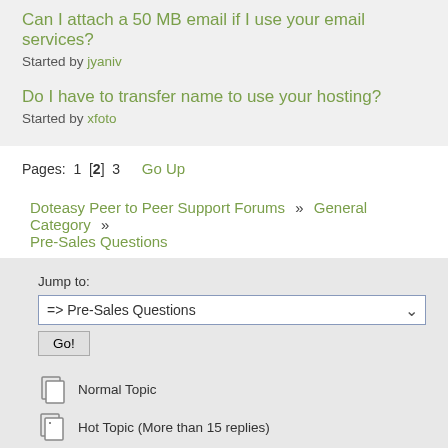Can I attach a 50 MB email if I use your email services?
Started by jyaniv
Do I have to transfer name to use your hosting?
Started by xfoto
Pages: 1 [2] 3   Go Up
Doteasy Peer to Peer Support Forums » General Category » Pre-Sales Questions
Jump to: => Pre-Sales Questions  Go!
Normal Topic
Hot Topic (More than 15 replies)
Very Hot Topic (More than 25 replies)